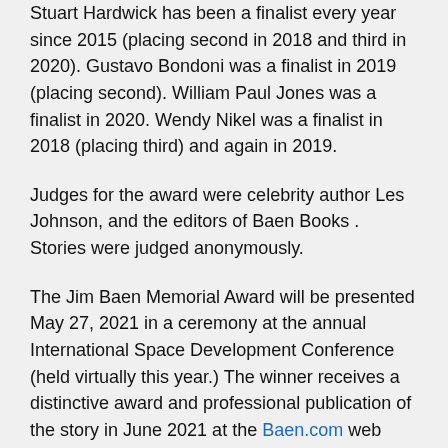Stuart Hardwick has been a finalist every year since 2015 (placing second in 2018 and third in 2020). Gustavo Bondoni was a finalist in 2019 (placing second). William Paul Jones was a finalist in 2020. Wendy Nikel was a finalist in 2018 (placing third) and again in 2019.
Judges for the award were celebrity author Les Johnson, and the editors of Baen Books . Stories were judged anonymously.
The Jim Baen Memorial Award will be presented May 27, 2021 in a ceremony at the annual International Space Development Conference (held virtually this year.) The winner receives a distinctive award and professional publication of the story in June 2021 at the Baen.com web site.
“The National Space Society and Baen Books applaud the role that science fiction plays in advancing real science and have teamed up to sponsor this short fiction contest in memory of Jim Baen, the founder of Baen Books,” said William...